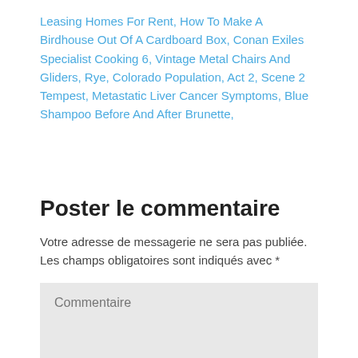Leasing Homes For Rent, How To Make A Birdhouse Out Of A Cardboard Box, Conan Exiles Specialist Cooking 6, Vintage Metal Chairs And Gliders, Rye, Colorado Population, Act 2, Scene 2 Tempest, Metastatic Liver Cancer Symptoms, Blue Shampoo Before And After Brunette,
Poster le commentaire
Votre adresse de messagerie ne sera pas publiée. Les champs obligatoires sont indiqués avec *
Commentaire